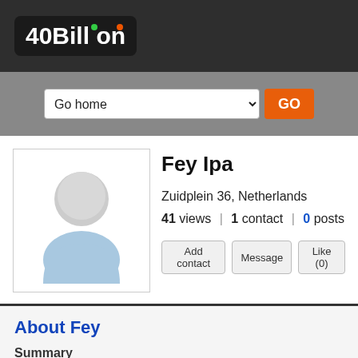[Figure (logo): 40Billion logo with green and orange dots on letters 'i' in white text on dark background]
Go home   GO
[Figure (illustration): Default user avatar: gray circle head and blue body silhouette]
Fey Ipa
Zuidplein 36, Netherlands
41 views | 1 contact | 0 posts
Add contact   Message   Like (0)
About Fey
Summary